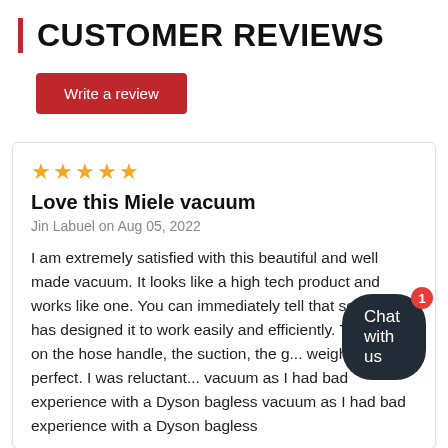CUSTOMER REVIEWS
Write a review
★★★★★
Love this Miele vacuum
Jin Labuel on Aug 05, 2022
I am extremely satisfied with this beautiful and well made vacuum. It looks like a high tech product and works like one. You can immediately tell that someone has designed it to work easily and efficiently. The grip on the hose handle, the suction, the g... weight are all perfect. I was reluctant... vacuum as I had bad experience with a Dyson bagless vacuum as I had bad experience with a Dyson bagless
Chat with us